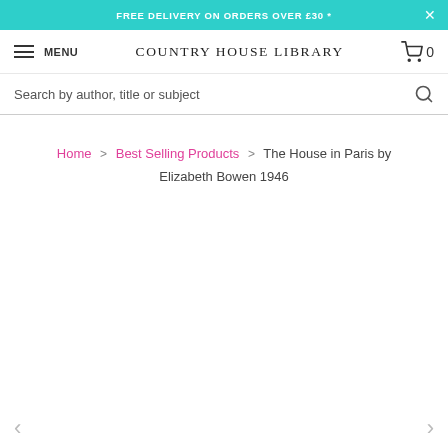FREE DELIVERY ON ORDERS OVER £30 *
COUNTRY HOUSE LIBRARY
Search by author, title or subject
Home > Best Selling Products > The House in Paris by Elizabeth Bowen 1946